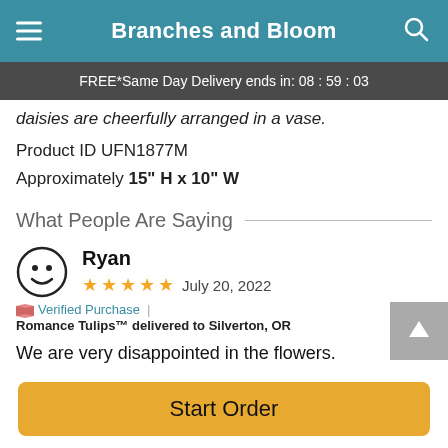Branches and Bloom
FREE* Same Day Delivery ends in: 08 : 59 : 03
daisies are cheerfully arranged in a vase.
Product ID UFN1877M
Approximately 15" H x 10" W
What People Are Saying
Ryan
★★★★★  July 20, 2022
🌸 Verified Purchase  |  Romance Tulips™ delivered to Silverton, OR
We are very disappointed in the flowers. They didn't look